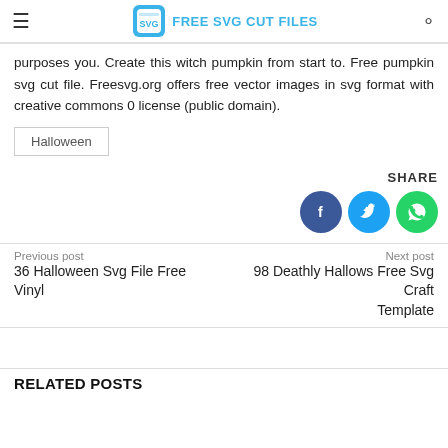FREE SVG CUT FILES
purposes you. Create this witch pumpkin from start to. Free pumpkin svg cut file. Freesvg.org offers free vector images in svg format with creative commons 0 license (public domain).
Halloween
SHARE
[Figure (other): Social share icons: Facebook, Twitter, WhatsApp]
Previous post
36 Halloween Svg File Free Vinyl
Next post
98 Deathly Hallows Free Svg Craft Template
RELATED POSTS